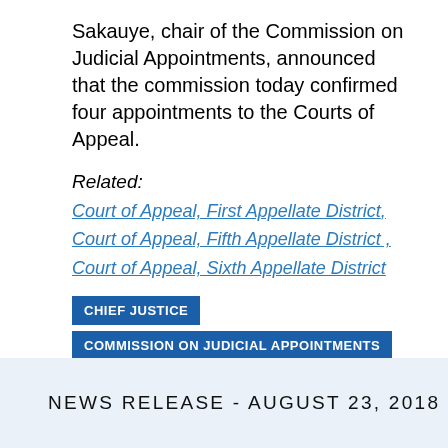Sakauye, chair of the Commission on Judicial Appointments, announced that the commission today confirmed four appointments to the Courts of Appeal.
Related:
Court of Appeal, First Appellate District,
Court of Appeal, Fifth Appellate District ,
Court of Appeal, Sixth Appellate District
CHIEF JUSTICE   COMMISSION ON JUDICIAL APPOINTMENTS
NEWS RELEASE - AUGUST 23, 2018